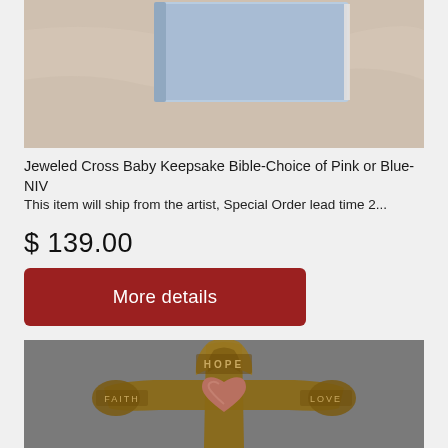[Figure (photo): Partial view of a baby keepsake Bible in light blue color on a marble surface]
Jeweled Cross Baby Keepsake Bible-Choice of Pink or Blue-NIV
This item will ship from the artist, Special Order lead time 2...
$ 139.00
More details
[Figure (photo): Decorative cross wall art in bronze/copper tones with words HOPE, FAITH, LOVE and a large heart in the center]